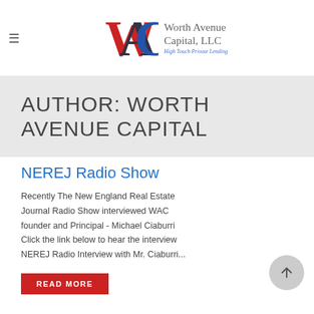Worth Avenue Capital, LLC – High Touch Private Lending
AUTHOR: WORTH AVENUE CAPITAL
NEREJ Radio Show
Recently The New England Real Estate Journal Radio Show interviewed WAC founder and Principal - Michael Ciaburri Click the link below to hear the interview NEREJ Radio Interview with Mr. Ciaburri...
READ MORE